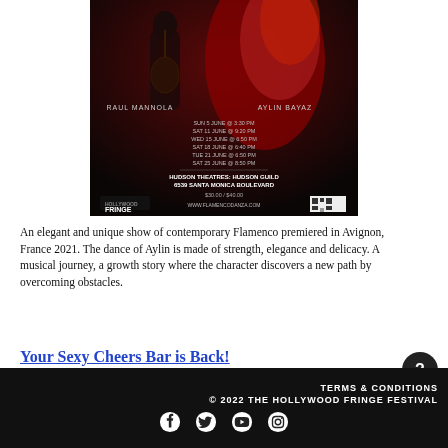[Figure (photo): Flamenco dance performance poster showing two dancers (Raul Mannola and Aylin Bayaz) with show dates in June at Hudson Theatres: Hudson Guild, 6539 Santa Monica Boulevard. Hollywood Fringe festival branding.]
An elegant and unique show of contemporary Flamenco premiered in Avignon, France 2021. The dance of Aylin is made of strength, elegance and delicacy. A musical journey, a growth story where the character discovers a new path by overcoming obstacles.
Your Sexy Cheers Bar is Back!
TERMS & CONDITIONS © 2022 THE HOLLYWOOD FRINGE FESTIVAL